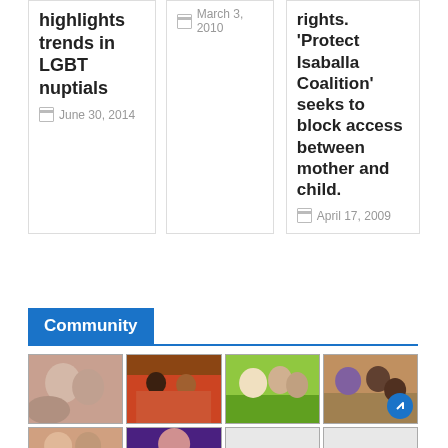highlights trends in LGBT nuptials
June 30, 2014
March 3, 2010
rights. 'Protect Isaballa Coalition' seeks to block access between mother and child.
April 17, 2009
Community
[Figure (photo): Grid of community photos showing families and groups of people]
[Figure (photo): Two more community photos in bottom row]